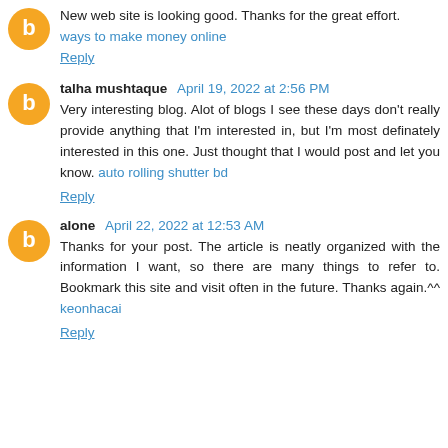New web site is looking good. Thanks for the great effort. ways to make money online
Reply
talha mushtaque April 19, 2022 at 2:56 PM
Very interesting blog. Alot of blogs I see these days don't really provide anything that I'm interested in, but I'm most definately interested in this one. Just thought that I would post and let you know. auto rolling shutter bd
Reply
alone April 22, 2022 at 12:53 AM
Thanks for your post. The article is neatly organized with the information I want, so there are many things to refer to. Bookmark this site and visit often in the future. Thanks again.^^ keonhacai
Reply